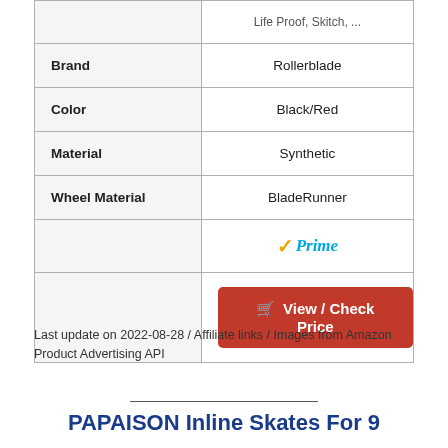| Attribute | Value |
| --- | --- |
|  | Life Proof, Skitch, ... |
| Brand | Rollerblade |
| Color | Black/Red |
| Material | Synthetic |
| Wheel Material | BladeRunner |
|  | ✓Prime |
|  | View / Check Price |
Last update on 2022-08-28 / Affiliate links / Images from Amazon Product Advertising API
PAPAISON Inline Skates For 9